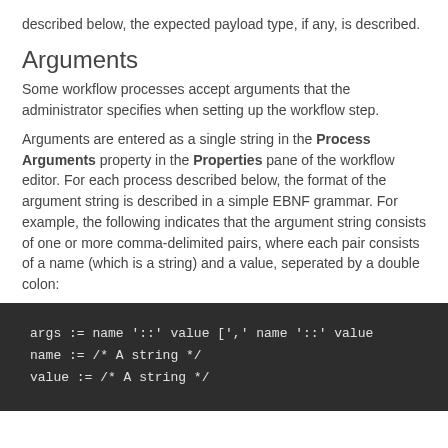described below, the expected payload type, if any, is described.
Arguments
Some workflow processes accept arguments that the administrator specifies when setting up the workflow step.
Arguments are entered as a single string in the Process Arguments property in the Properties pane of the workflow editor. For each process described below, the format of the argument string is described in a simple EBNF grammar. For example, the following indicates that the argument string consists of one or more comma-delimited pairs, where each pair consists of a name (which is a string) and a value, seperated by a double colon:
[Figure (screenshot): Dark code block showing EBNF grammar: args := name '::' value [',' name '::' value; name := /* A string */; value := /* A string */]